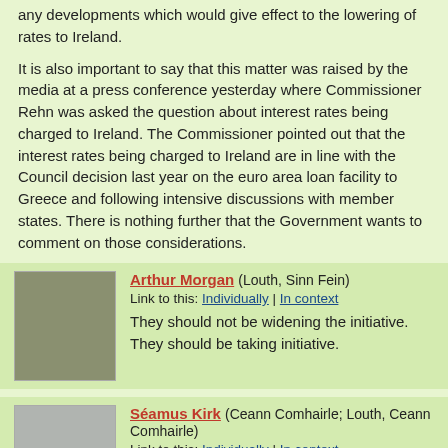any developments which would give effect to the lowering of rates to Ireland.
It is also important to say that this matter was raised by the media at a press conference yesterday where Commissioner Rehn was asked the question about interest rates being charged to Ireland. The Commissioner pointed out that the interest rates being charged to Ireland are in line with the Council decision last year on the euro area loan facility to Greece and following intensive discussions with member states. There is nothing further that the Government wants to comment on those considerations.
Arthur Morgan (Louth, Sinn Fein)
Link to this: Individually | In context
They should not be widening the initiative. They should be taking initiative.
Séamus Kirk (Ceann Comhairle; Louth, Ceann Comhairle)
Link to this: Individually | In context
I call Deputy Reilly.
Joan Burton (Dublin West, Labour)
Link to this: Individually | In context
A Cheann Comhairle,....